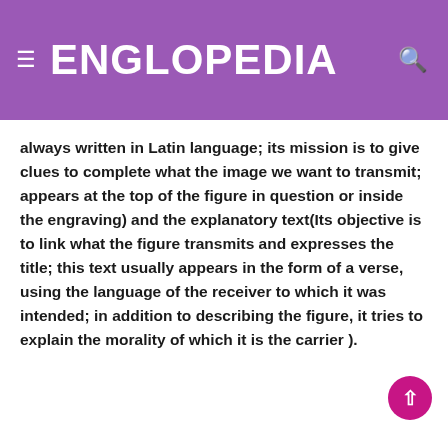ENGLOPEDIA
always written in Latin language; its mission is to give clues to complete what the image we want to transmit; appears at the top of the figure in question or inside the engraving) and the explanatory text(Its objective is to link what the figure transmits and expresses the title; this text usually appears in the form of a verse, using the language of the receiver to which it was intended; in addition to describing the figure, it tries to explain the morality of which it is the carrier ).